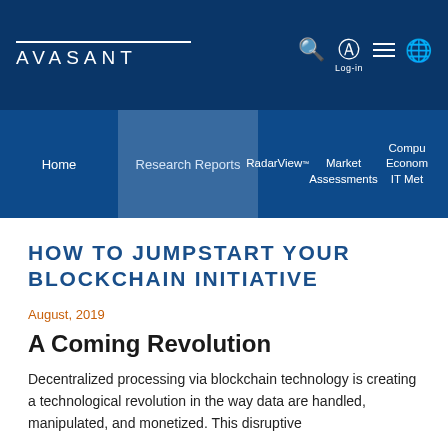AVASANT
Home   Research Reports   RadarView™   Market Assessments   Compu   Econom   IT Met
HOW TO JUMPSTART YOUR BLOCKCHAIN INITIATIVE
August, 2019
A Coming Revolution
Decentralized processing via blockchain technology is creating a technological revolution in the way data are handled, manipulated, and monetized. This disruptive